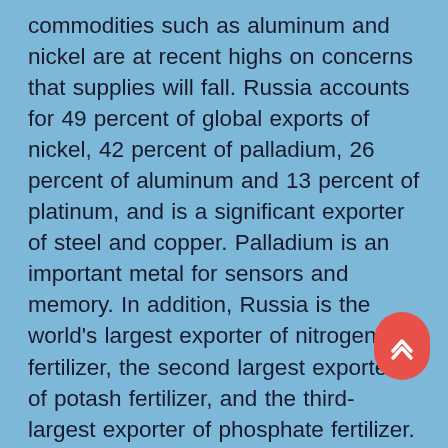commodities such as aluminum and nickel are at recent highs on concerns that supplies will fall. Russia accounts for 49 percent of global exports of nickel, 42 percent of palladium, 26 percent of aluminum and 13 percent of platinum, and is a significant exporter of steel and copper. Palladium is an important metal for sensors and memory. In addition, Russia is the world's largest exporter of nitrogen fertilizer, the second largest exporter of potash fertilizer, and the third-largest exporter of phosphate fertilizer. Ukraine is also an important producer of nitrogen fertilizer. Russia's natural gas supply also has a significant impact on the global fertilizer industry and concrete foaming agent industry, especially in Europe. The price of the concrete foaming agent will also fluctuate to some extent. Russia carries out crude gas separation, and Ukraine is responsible for refined exports. Ukraine supplies 70% of the world's neon, 40% of krypton and 30% of xenon. These three gases